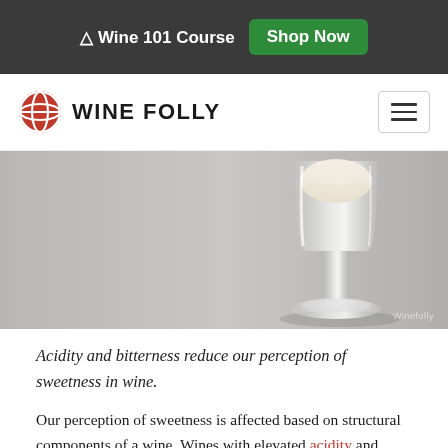🍷 Wine 101 Course  Shop Now
[Figure (logo): Wine Folly logo with red globe icon and 'WINE FOLLY' text, plus hamburger menu icon]
[Figure (photo): Close-up photo of a wine glass with white/cream colored wine on a grey surface, partially cropped showing the stem and base of the glass]
Acidity and bitterness reduce our perception of sweetness in wine.
Our perception of sweetness is affected based on structural components of a wine. Wines with elevated acidity and bitterness will mask the taste of sweetness. Think of it like